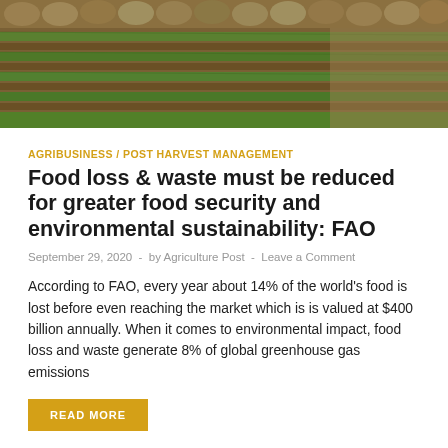[Figure (photo): Aerial view of agricultural field with rows of green crops and brown soil, with sacks of grain visible at the top]
AGRIBUSINESS / POST HARVEST MANAGEMENT
Food loss & waste must be reduced for greater food security and environmental sustainability: FAO
September 29, 2020  -  by Agriculture Post  -  Leave a Comment
According to FAO, every year about 14% of the world's food is lost before even reaching the market which is is valued at $400 billion annually. When it comes to environmental impact, food loss and waste generate 8% of global greenhouse gas emissions
READ MORE